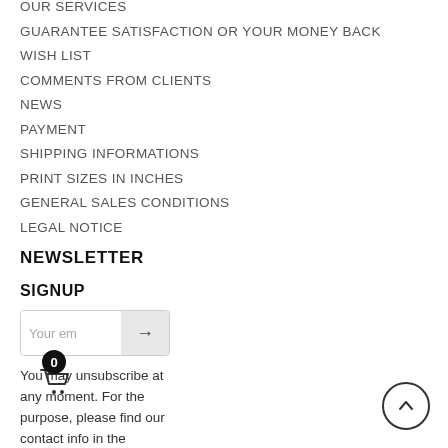OUR SERVICES
GUARANTEE SATISFACTION OR YOUR MONEY BACK
WISH LIST
COMMENTS FROM CLIENTS
NEWS
PAYMENT
SHIPPING INFORMATIONS
PRINT SIZES IN INCHES
GENERAL SALES CONDITIONS
LEGAL NOTICE
NEWSLETTER
SIGNUP
You may unsubscribe at any moment. For the purpose, please find our contact info in the